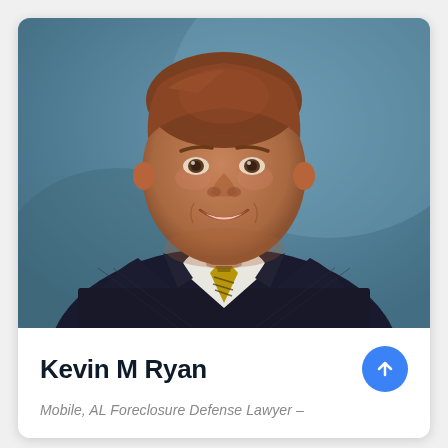[Figure (photo): Professional headshot of Kevin M Ryan, a middle-aged man with reddish-brown hair, smiling, wearing a dark pinstripe suit with a gold and dark patterned tie, against a blue-gray background.]
Kevin M Ryan
Mobile, AL Foreclosure Defense Lawyer –